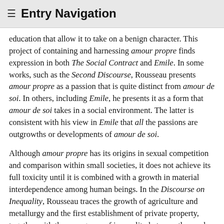≡ Entry Navigation
education that allow it to take on a benign character. This project of containing and harnessing amour propre finds expression in both The Social Contract and Emile. In some works, such as the Second Discourse, Rousseau presents amour propre as a passion that is quite distinct from amour de soi. In others, including Emile, he presents it as a form that amour de soi takes in a social environment. The latter is consistent with his view in Emile that all the passions are outgrowths or developments of amour de soi.
Although amour propre has its origins in sexual competition and comparison within small societies, it does not achieve its full toxicity until it is combined with a growth in material interdependence among human beings. In the Discourse on Inequality, Rousseau traces the growth of agriculture and metallurgy and the first establishment of private property, together with the emergence of inequality between those who own land and those who do not. In an unequal society, human beings